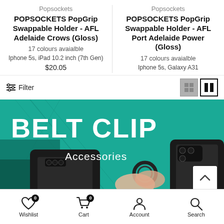Popsockets
POPSOCKETS PopGrip Swappable Holder - AFL Adelaide Crows (Gloss)
17 colours avaialble
Iphone 5s, iPad 10.2 inch (7th Gen)
$20.05
Popsockets
POPSOCKETS PopGrip Swappable Holder - AFL Port Adelaide Power (Gloss)
17 colours avaialble
Iphone 5s, Galaxy A31
[Figure (screenshot): Belt Clip Accessories banner image showing phone cases with belt clip ring accessories on a teal/dark background]
Wishlist  Cart  Account  Search